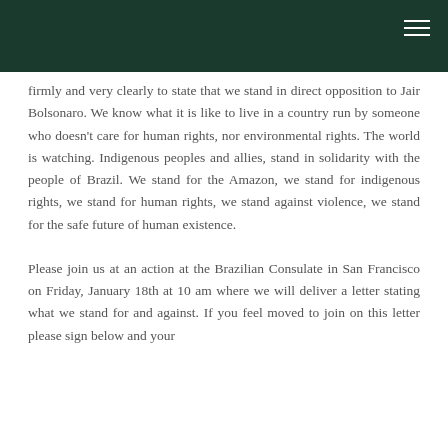firmly and very clearly to state that we stand in direct opposition to Jair Bolsonaro. We know what it is like to live in a country run by someone who doesn't care for human rights, nor environmental rights. The world is watching. Indigenous peoples and allies, stand in solidarity with the people of Brazil. We stand for the Amazon, we stand for indigenous rights, we stand for human rights, we stand against violence, we stand for the safe future of human existence.
Please join us at an action at the Brazilian Consulate in San Francisco on Friday, January 18th at 10 am where we will deliver a letter stating what we stand for and against. If you feel moved to join on this letter please sign below and your